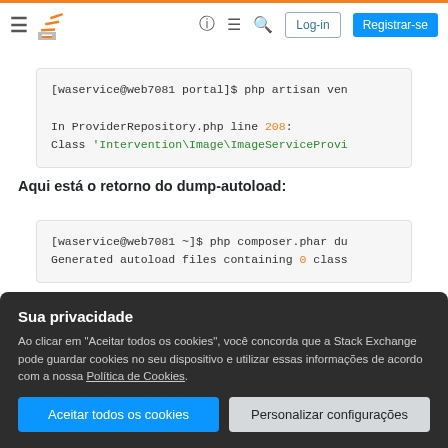[Figure (screenshot): Stack Overflow navigation bar with hamburger menu, logo, help icon, chat icon, search icon, Log-in button, and Registrar-se button]
[Figure (screenshot): Code block showing: [waservice@web7081 portal]$ php artisan ven
In ProviderRepository.php line 208:
Class 'Intervention\Image\ImageServiceProvi]
Aqui está o retorno do dump-autoload:
[Figure (screenshot): Code block showing: [waservice@web7081 ~]$ php composer.phar du
Generated autoload files containing 0 class]
Sua privacidade
Ao clicar em "Aceitar todos os cookies", você concorda que a Stack Exchange pode guardar cookies no seu dispositivo e utilizar essas informações de acordo com a nossa Política de Cookies.
Aceitar todos os cookies
Personalizar configurações